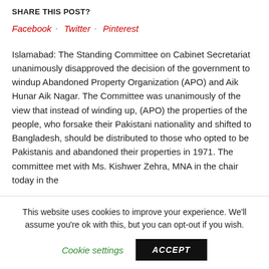SHARE THIS POST?
Facebook   Twitter   Pinterest
Islamabad: The Standing Committee on Cabinet Secretariat unanimously disapproved the decision of the government to windup Abandoned Property Organization (APO) and Aik Hunar Aik Nagar. The Committee was unanimously of the view that instead of winding up, (APO) the properties of the people, who forsake their Pakistani nationality and shifted to Bangladesh, should be distributed to those who opted to be Pakistanis and abandoned their properties in 1971. The committee met with Ms. Kishwer Zehra, MNA in the chair today in the
This website uses cookies to improve your experience. We'll assume you're ok with this, but you can opt-out if you wish.
Cookie settings   ACCEPT